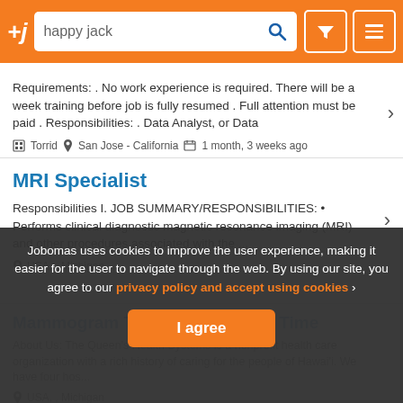+j  happy jack [search]
Requirements: . No work experience is required. There will be a week training before job is fully resumed . Full attention must be paid . Responsibilities: . Data Analyst, or Data
Torrid  San Jose - California  1 month, 3 weeks ago
MRI Specialist
Responsibilities I. JOB SUMMARY/RESPONSIBILITIES: • Performs clinical diagnostic magnetic resonance imaging (MRI) and other procedures associated with the ...
USA, , Michigan
Mammogram Technologist - Full Time
About Us: The Queen's Health Systems is a nonprofit health care organization with a rich history of caring for the people of Hawai'i. We have four hos...
USA, , Michigan
Jobomas uses cookies to improve the user experience, making it easier for the user to navigate through the web. By using our site, you agree to our privacy policy and accept using cookies
I agree